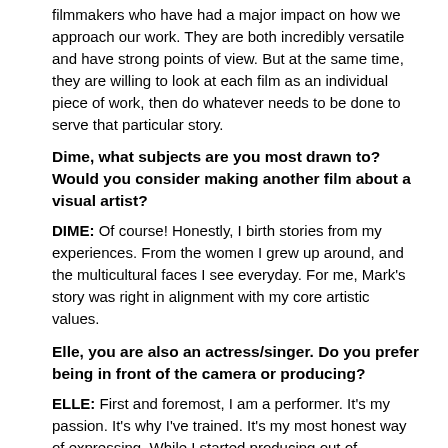filmmakers who have had a major impact on how we approach our work. They are both incredibly versatile and have strong points of view. But at the same time, they are willing to look at each film as an individual piece of work, then do whatever needs to be done to serve that particular story.
Dime, what subjects are you most drawn to? Would you consider making another film about a visual artist?
DIME: Of course! Honestly, I birth stories from my experiences. From the women I grew up around, and the multicultural faces I see everyday. For me, Mark's story was right in alignment with my core artistic values.
Elle, you are also an actress/singer. Do you prefer being in front of the camera or producing?
ELLE: First and foremost, I am a performer. It's my passion. It's why I've trained. It's my most honest way of expressing. While I started producing out of necessity, Dime and I have found a way of co-creating that works perfectly for us. So, my favorite part of producing is actually the creation. We...